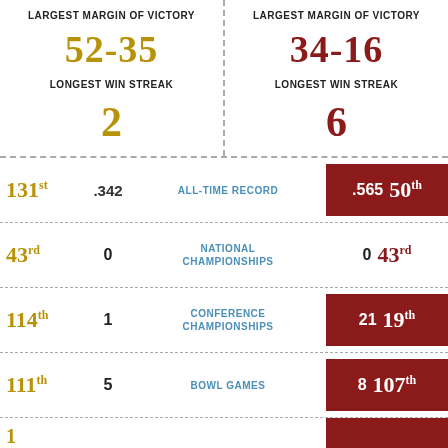LARGEST MARGIN OF VICTORY
52-35
LARGEST MARGIN OF VICTORY
34-16
LONGEST WIN STREAK
2
LONGEST WIN STREAK
6
| Left Rank | Left Val | Category | Right Val | Right Rank |
| --- | --- | --- | --- | --- |
| 131st | .342 | ALL-TIME RECORD | .565 | 50th |
| 43rd | 0 | NATIONAL CHAMPIONSHIPS | 0 | 43rd |
| 114th | 1 | CONFERENCE CHAMPIONSHIPS | 21 | 19th |
| 111th | 5 | BOWL GAMES | 8 | 107th |